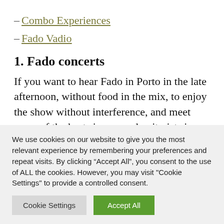– Combo Experiences
– Fado Vadio
1. Fado concerts
If you want to hear Fado in Porto in the late afternoon, without food in the mix, to enjoy the show without interference, and meet some of the best singers and guitarists in town, this is the experience recommended
We use cookies on our website to give you the most relevant experience by remembering your preferences and repeat visits. By clicking “Accept All”, you consent to the use of ALL the cookies. However, you may visit "Cookie Settings" to provide a controlled consent.